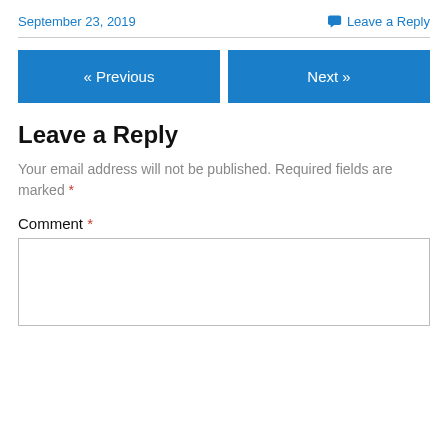September 23, 2019
Leave a Reply
« Previous
Next »
Leave a Reply
Your email address will not be published. Required fields are marked *
Comment *